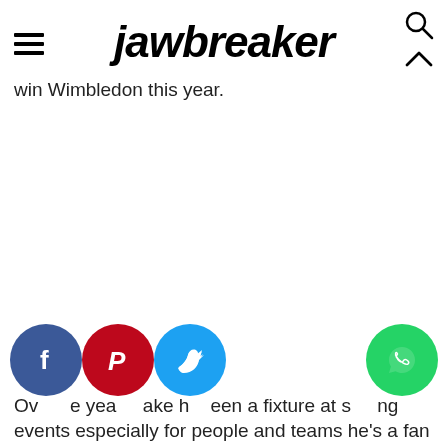jawbreaker
win Wimbledon this year.
[Figure (other): Social media share buttons: Facebook (blue circle with f), Pinterest (red circle with P), Twitter (light blue circle with bird), WhatsApp (green circle with phone)]
Over the years Jake has been a fixture at sporting events especially for people and teams he's a fan